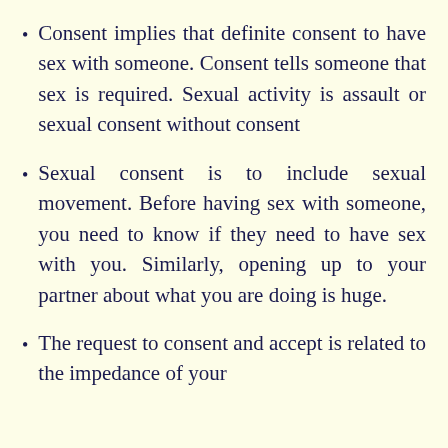Consent implies that definite consent to have sex with someone. Consent tells someone that sex is required. Sexual activity is assault or sexual consent without consent
Sexual consent is to include sexual movement. Before having sex with someone, you need to know if they need to have sex with you. Similarly, opening up to your partner about what you are doing is huge.
The request to consent and accept is related to the impedance of your partner, the consent can also be in